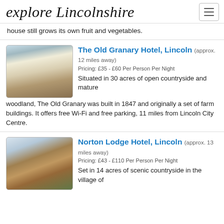explore Lincolnshire
house still grows its own fruit and vegetables.
[Figure (photo): Exterior of The Old Granary Hotel, a stone farmhouse building with gate posts and gravel courtyard]
The Old Granary Hotel, Lincoln (approx. 12 miles away)
Pricing: £35 - £60 Per Person Per Night
Situated in 30 acres of open countryside and mature woodland, The Old Granary was built in 1847 and originally a set of farm buildings. It offers free Wi-Fi and free parking, 11 miles from Lincoln City Centre.
[Figure (photo): Exterior of Norton Lodge Hotel with a statue/sculpture in the foreground]
Norton Lodge Hotel, Lincoln (approx. 13 miles away)
Pricing: £43 - £110 Per Person Per Night
Set in 14 acres of scenic countryside in the village of